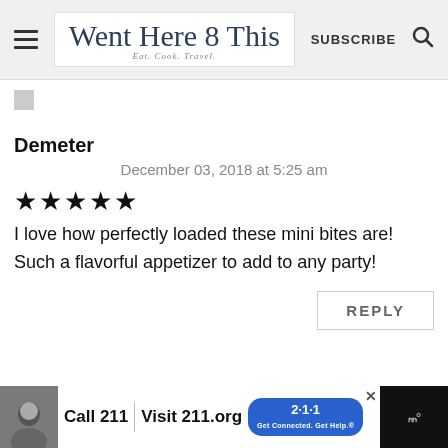Went Here 8 This — Eat. Cook. Travel. | SUBSCRIBE
[Figure (screenshot): Small gray avatar placeholder square]
Demeter
December 03, 2018 at 5:25 am
★★★★★
I love how perfectly loaded these mini bites are! Such a flavorful appetizer to add to any party!
REPLY
[Figure (infographic): Advertisement banner: Call 211 | Visit 211.org with 2-1-1 logo badge]